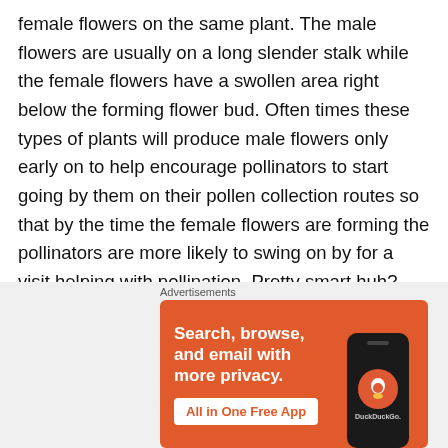female flowers on the same plant. The male flowers are usually on a long slender stalk while the female flowers have a swollen area right below the forming flower bud. Often times these types of plants will produce male flowers only early on to help encourage pollinators to start going by them on their pollen collection routes so that by the time the female flowers are forming the pollinators are more likely to swing on by for a visit helping with pollination. Pretty smart huh?
I'm really excited to see the okra doing so well. I have 4 plants and this is the first year that I've ever grown them
[Figure (screenshot): DuckDuckGo advertisement banner with orange background. Text reads: Search, browse, and email with more privacy. All in One Free App. Shows a phone with DuckDuckGo logo.]